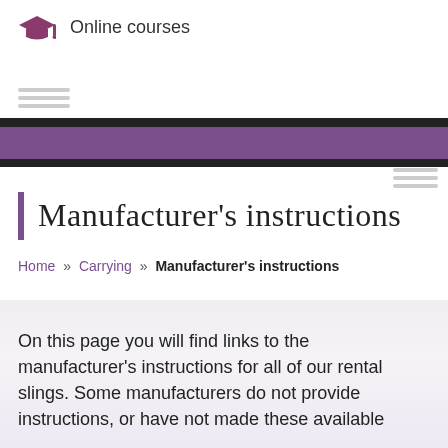Online courses
Manufacturer's instructions
Home » Carrying » Manufacturer's instructions
On this page you will find links to the manufacturer's instructions for all of our rental slings. Some manufacturers do not provide instructions, or have not made these available